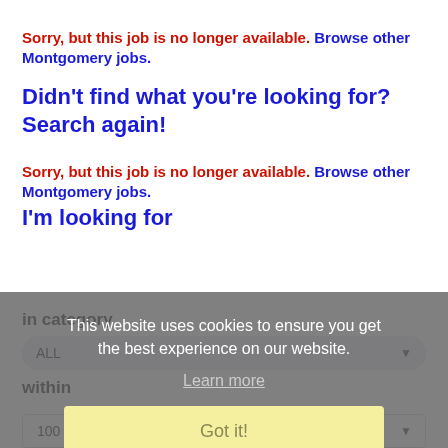Sorry, but this job is no longer available. Browse other Montgomery jobs.
Didn't find what you're looking for? Search again!
Sorry, but this job is no longer available. Browse other Montgomery jobs.
I'm looking for
in category
ALL
within
100 Miles of Montgomery
This website uses cookies to ensure you get the best experience on our website.
Learn more
Got it!